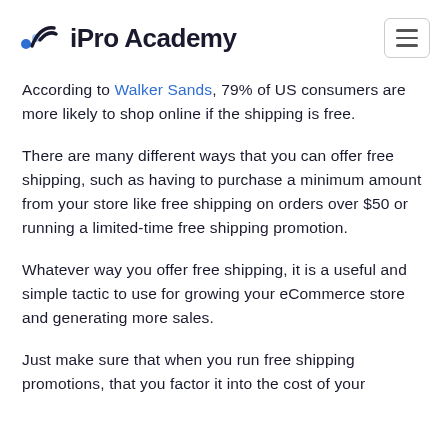iPro Academy
According to Walker Sands, 79% of US consumers are more likely to shop online if the shipping is free.
There are many different ways that you can offer free shipping, such as having to purchase a minimum amount from your store like free shipping on orders over $50 or running a limited-time free shipping promotion.
Whatever way you offer free shipping, it is a useful and simple tactic to use for growing your eCommerce store and generating more sales.
Just make sure that when you run free shipping promotions, that you factor it into the cost of your